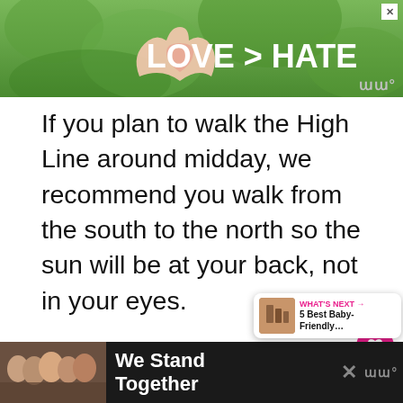[Figure (photo): Advertisement banner showing two hands making a heart shape with fingers against a green leafy background, with white bold text 'LOVE > HATE'. An X close button is in the top right corner.]
If you plan to walk the High Line around midday, we recommend you walk from the south to the north so the sun will be at your back, not in your eyes.
Recommended Tour: Combine two of our favorite things to do in New York with a baby with this family-friendly h... and Chelsea Market tour
[Figure (photo): Bottom advertisement banner showing a group of people with arms around each other from behind, with bold white text 'We Stand Together' on a dark background.]